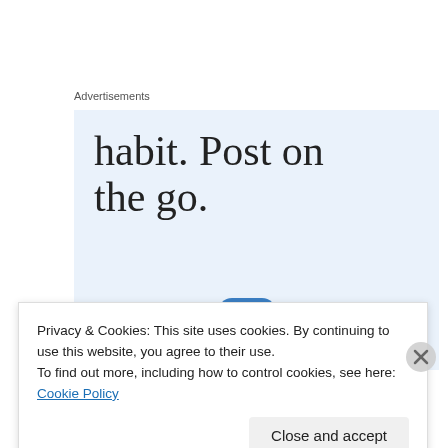Advertisements
[Figure (illustration): WordPress advertisement banner with large serif text reading 'habit. Post on the go.' and a 'GET THE APP' call-to-action with a WordPress icon button on a light blue background.]
Privacy & Cookies: This site uses cookies. By continuing to use this website, you agree to their use.
To find out more, including how to control cookies, see here: Cookie Policy
Close and accept